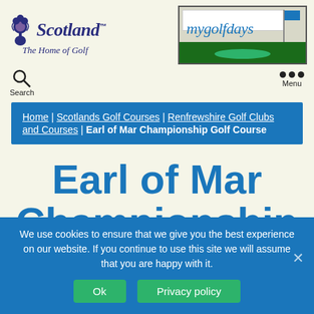[Figure (logo): Scotland The Home of Golf logo with thistle icon]
[Figure (logo): mygolfdays banner with golf green and flag]
Search
Menu
Home | Scotlands Golf Courses | Renfrewshire Golf Clubs and Courses | Earl of Mar Championship Golf Course
Earl of Mar Championship
We use cookies to ensure that we give you the best experience on our website. If you continue to use this site we will assume that you are happy with it.
Ok
Privacy policy